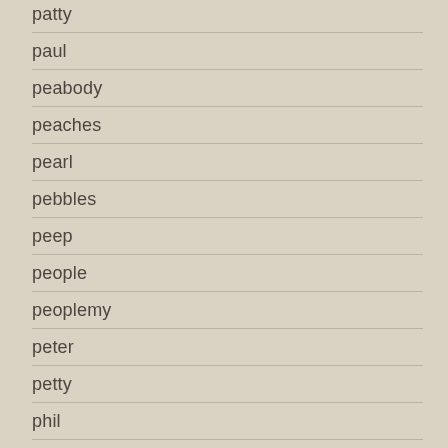patty
paul
peabody
peaches
pearl
pebbles
peep
people
peoplemy
peter
petty
phil
phish
phoebe
phono
picketywitch